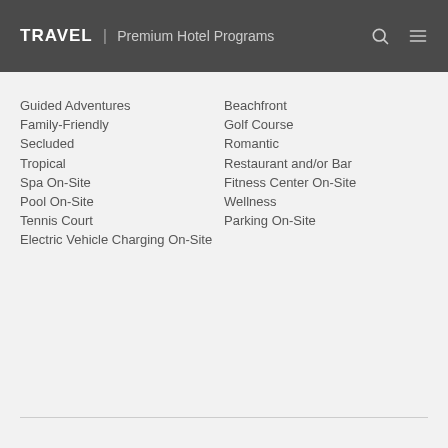TRAVEL | Premium Hotel Programs
Guided Adventures
Family-Friendly
Secluded
Tropical
Spa On-Site
Pool On-Site
Tennis Court
Electric Vehicle Charging On-Site
Beachfront
Golf Course
Romantic
Restaurant and/or Bar
Fitness Center On-Site
Wellness
Parking On-Site